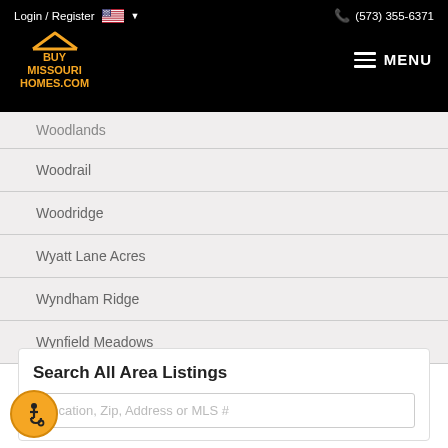Login / Register  (573) 355-6371
[Figure (logo): Buy Missouri Homes.com logo with house roof icon in gold/orange on black background]
Woodlands
Woodrail
Woodridge
Wyatt Lane Acres
Wyndham Ridge
Wynfield Meadows
Search All Area Listings
Location, Zip, Address or MLS #